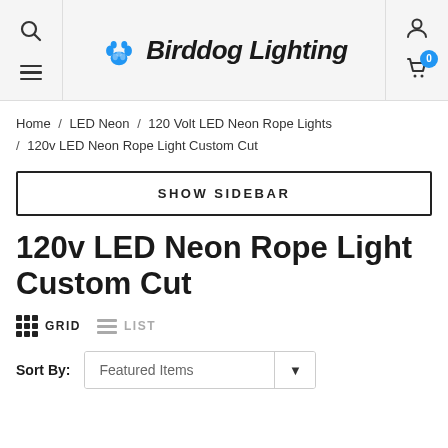Birddog Lighting
Home / LED Neon / 120 Volt LED Neon Rope Lights / 120v LED Neon Rope Light Custom Cut
SHOW SIDEBAR
120v LED Neon Rope Light Custom Cut
GRID  LIST
Sort By: Featured Items